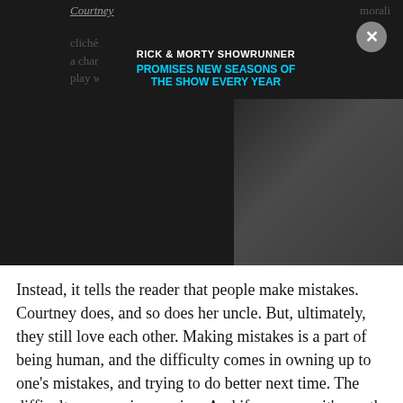[Figure (screenshot): Rick & Morty animated characters in dark/grey tones with a promotional ad banner overlay reading 'RICK & MORTY SHOWRUNNER PROMISES NEW SEASONS OF THE SHOW EVERY YEAR' in white and cyan text. A grey circular close button (×) appears in the top right.]
Instead, it tells the reader that people make mistakes. Courtney does, and so does her uncle. But, ultimately, they still love each other. Making mistakes is a part of being human, and the difficulty comes in owning up to one's mistakes, and trying to do better next time. The difficulty comes, in growing. And if you grow, it's worth it.
Because the world might be full of cruelty, casual and otherwise. It might be unfair, and it might be lonely. But also, you get to fall in love. And you get to help the people close to you. And you get to explore and experiment and live.